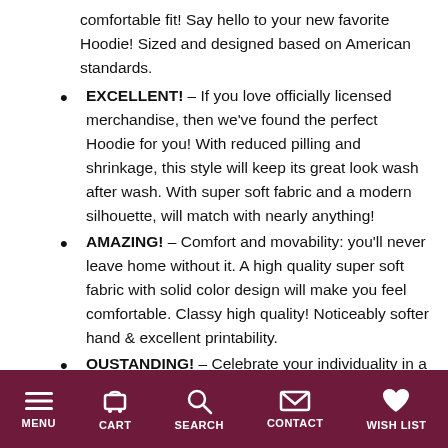comfortable fit! Say hello to your new favorite Hoodie! Sized and designed based on American standards.
EXCELLENT! – If you love officially licensed merchandise, then we've found the perfect Hoodie for you! With reduced pilling and shrinkage, this style will keep its great look wash after wash. With super soft fabric and a modern silhouette, will match with nearly anything!
AMAZING! – Comfort and movability: you'll never leave home without it. A high quality super soft fabric with solid color design will make you feel comfortable. Classy high quality! Noticeably softer hand & excellent printability.
OUSTANDING! – Celebrate your individuality in a unique Hoodie combining quality fabric and handwork with advanced digital technology that creates Premium graphic prints. This Hoodie will
MENU   CART   SEARCH   CONTACT   WISH LIST